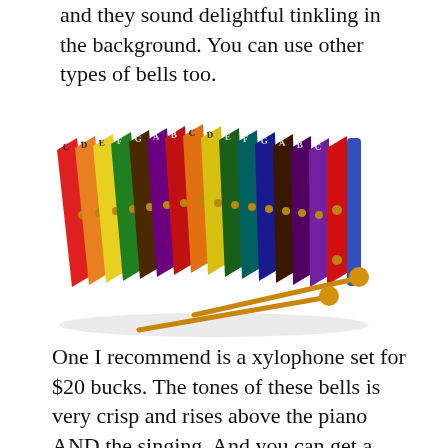and they sound delightful tinkling in the background. You can use other types of bells too.
[Figure (photo): A colorful xylophone with multiple rainbow-colored wooden bars arranged side by side, with two wooden mallets resting on it.]
One I recommend is a xylophone set for $20 bucks. The tones of these bells is very crisp and rises above the piano AND the singing. And you can get a child who has some piano lessons in